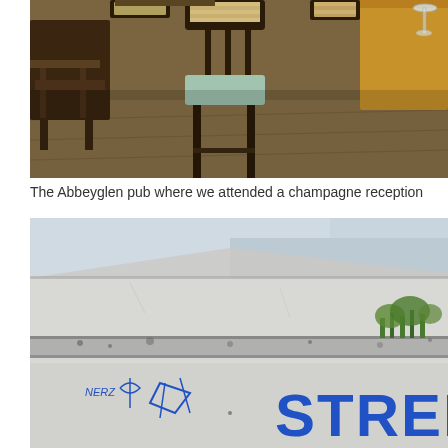[Figure (photo): Interior of the Abbeyglen pub showing wooden chairs with striped cushions, dark wood furniture, wooden floor, and a wine glass visible in the upper right corner.]
The Abbeyglen pub where we attended a champagne reception
[Figure (photo): Exterior white-rendered building wall with a flat concrete ledge and plants growing on top. Blue graffiti text reading 'STREET' is visible along with smaller graffiti tags including 'NERZ' and other markings on the lower left.]